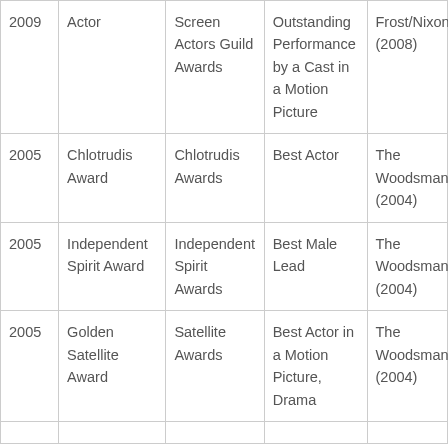| Year | Award | Ceremony | Category | Film |
| --- | --- | --- | --- | --- |
| 2009 | Actor | Screen Actors Guild Awards | Outstanding Performance by a Cast in a Motion Picture | Frost/Nixon (2008) |
| 2005 | Chlotrudis Award | Chlotrudis Awards | Best Actor | The Woodsman (2004) |
| 2005 | Independent Spirit Award | Independent Spirit Awards | Best Male Lead | The Woodsman (2004) |
| 2005 | Golden Satellite Award | Satellite Awards | Best Actor in a Motion Picture, Drama | The Woodsman (2004) |
|  |  |  |  |  |